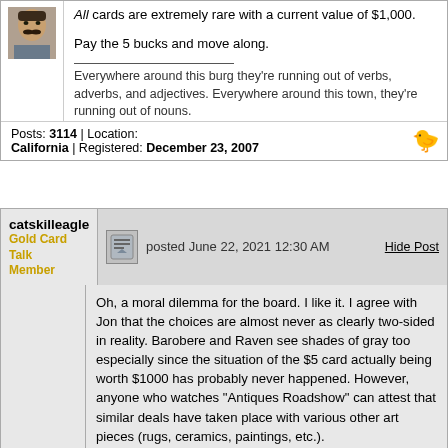[Figure (photo): Avatar image of a person with a mustache]
All cards are extremely rare with a current value of $1,000.

Pay the 5 bucks and move along.
Everywhere around this burg they're running out of verbs, adverbs, and adjectives. Everywhere around this town, they're running out of nouns.
Posts: 3114 | Location: California | Registered: December 23, 2007
catskilleagle
Gold Card Talk Member
posted June 22, 2021 12:30 AM
Hide Post
Oh, a moral dilemma for the board. I like it. I agree with Jon that the choices are almost never as clearly two-sided in reality. Barobere and Raven see shades of gray too especially since the situation of the $5 card actually being worth $1000 has probably never happened. However, anyone who watches "Antiques Roadshow" can attest that similar deals have taken place with various other art pieces (rugs, ceramics, paintings, etc.).

I think you buy it and you tell the seller you think it might be valuable and offer to cut that person in if you can find a buyer. The seller might just want it back but then I would remind him/her that the current sticker price probably indicates that I should be the one trying to sell it. I would offer to